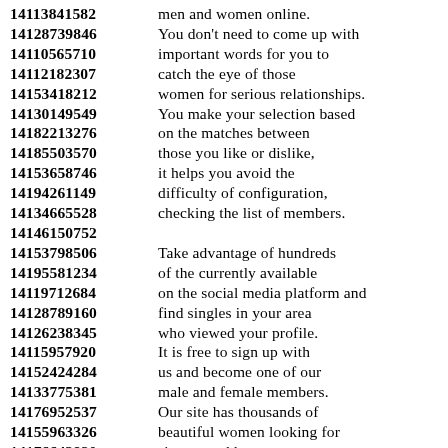14113841582 men and women online. 14128739846 You don't need to come up with 14110565710 important words for you to 14112182307 catch the eye of those 14153418212 women for serious relationships. 14130149549 You make your selection based 14182213276 on the matches between 14185503570 those you like or dislike, 14153658746 it helps you avoid the 14194261149 difficulty of configuration, 14134665528 checking the list of members. 14146150752 14153798506 Take advantage of hundreds 14195581234 of the currently available 14119712684 on the social media platform and 14128789160 find singles in your area 14126238345 who viewed your profile. 14115957920 It is free to sign up with 14152424284 us and become one of our 14133775381 male and female members. 14176952537 Our site has thousands of 14155963326 beautiful women looking for 14176643920 sincere and honest men 14133699301 owing to determination 14134521222 to provide them with the best.